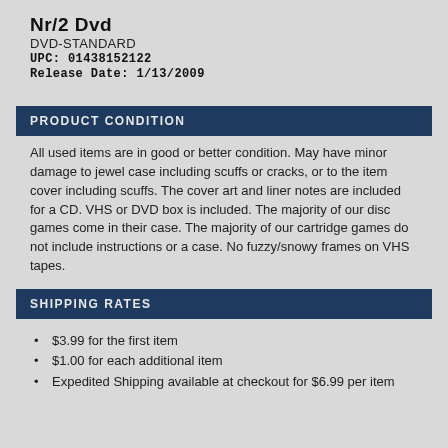Nr/2 Dvd
DVD-STANDARD
UPC: 01438152122
Release Date: 1/13/2009
PRODUCT CONDITION
All used items are in good or better condition. May have minor damage to jewel case including scuffs or cracks, or to the item cover including scuffs. The cover art and liner notes are included for a CD. VHS or DVD box is included. The majority of our disc games come in their case. The majority of our cartridge games do not include instructions or a case. No fuzzy/snowy frames on VHS tapes.
SHIPPING RATES
$3.99 for the first item
$1.00 for each additional item
Expedited Shipping available at checkout for $6.99 per item